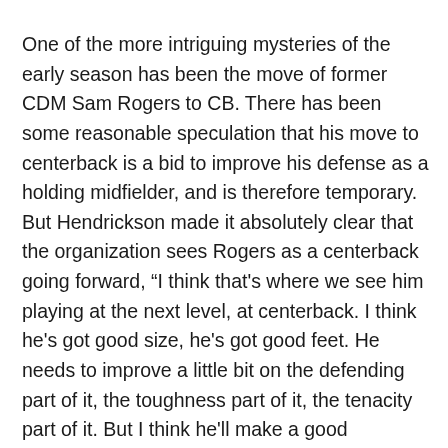One of the more intriguing mysteries of the early season has been the move of former CDM Sam Rogers to CB. There has been some reasonable speculation that his move to centerback is a bid to improve his defense as a holding midfielder, and is therefore temporary. But Hendrickson made it absolutely clear that the organization sees Rogers as a centerback going forward, “I think that's where we see him playing at the next level, at centerback. I think he's got good size, he's got good feet. He needs to improve a little bit on the defending part of it, the toughness part of it, the tenacity part of it. But I think he'll make a good centerback at the next level and that's where we see him playing, so that's where we want to train him, to develop him, as a centerback.” Hendrickson also went